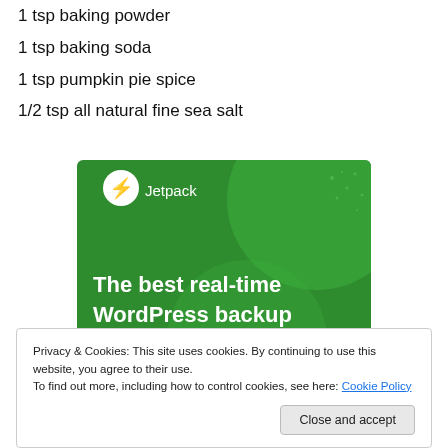1 tsp baking powder
1 tsp baking soda
1 tsp pumpkin pie spice
1/2 tsp all natural fine sea salt
[Figure (screenshot): Jetpack advertisement banner with green background showing 'The best real-time WordPress backup plugin' with Jetpack logo]
Privacy & Cookies: This site uses cookies. By continuing to use this website, you agree to their use.
To find out more, including how to control cookies, see here: Cookie Policy